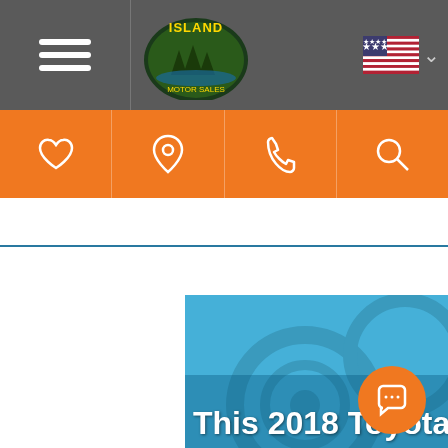[Figure (screenshot): Island Motor Sales website header with hamburger menu, logo, and US flag]
[Figure (screenshot): Orange navigation bar with heart, location pin, phone, and search icons]
[Figure (screenshot): Social media sidebar with Facebook, YouTube, and Instagram icons]
[Figure (photo): Blue-tinted car interior/wheel image with text 'This 2018 Toyota' and orange chat button]